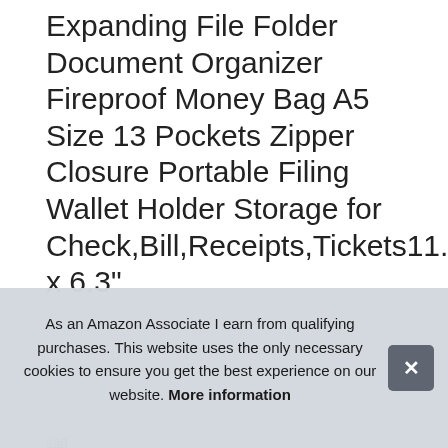Expanding File Folder Document Organizer Fireproof Money Bag A5 Size 13 Pockets Zipper Closure Portable Filing Wallet Holder Storage for Check,Bill,Receipts,Tickets11.4" x 6.3"
#ad
[Figure (photo): Four product thumbnail images of an expanding file folder/document organizer in black, showing different angles and features including water resistance labeling.]
ENG...
we ... makes it suitable for daily filing and storing of documents with
As an Amazon Associate I earn from qualifying purchases. This website uses the only necessary cookies to ensure you get the best experience on our website. More information